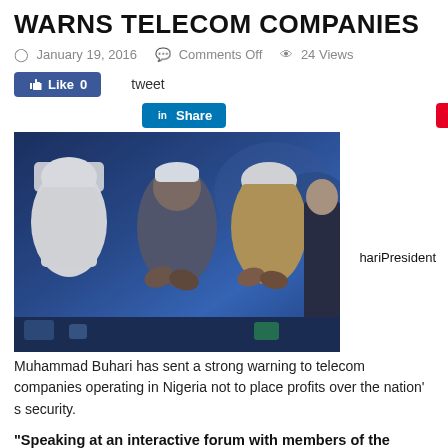WARNS TELECOM COMPANIES
January 19, 2016   Comments Off   24 Views
Like 0   tweet   Share   Save
[Figure (photo): Muhammad Buhari seated at an event alongside Arab dignitaries in traditional white robes, clapping at a forum. Overlay text: hariPresident]
Muhammad Buhari has sent a strong warning to telecom companies operating in Nigeria not to place profits over the nation's security.
“Speaking at an interactive forum with members of the Nigerian Community in Abu Dhabi, President Buhari said that the war